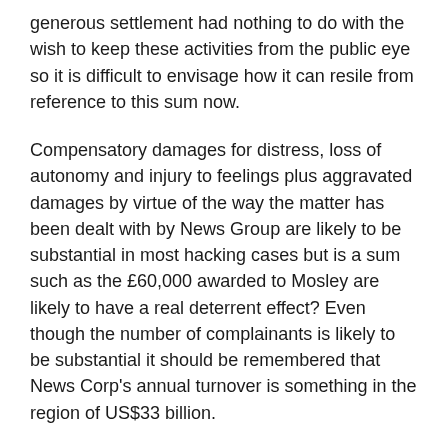generous settlement had nothing to do with the wish to keep these activities from the public eye so it is difficult to envisage how it can resile from reference to this sum now.
Compensatory damages for distress, loss of autonomy and injury to feelings plus aggravated damages by virtue of the way the matter has been dealt with by News Group are likely to be substantial in most hacking cases but is a sum such as the £60,000 awarded to Mosley are likely to have a real deterrent effect? Even though the number of complainants is likely to be substantial it should be remembered that News Corp's annual turnover is something in the region of US$33 billion.
It is arguable that if ever there was a need for the civil Court to provide a deterrent it is here. Whilst arrests and potential prison sentences must be a sobering prospect for some of the News of the World star